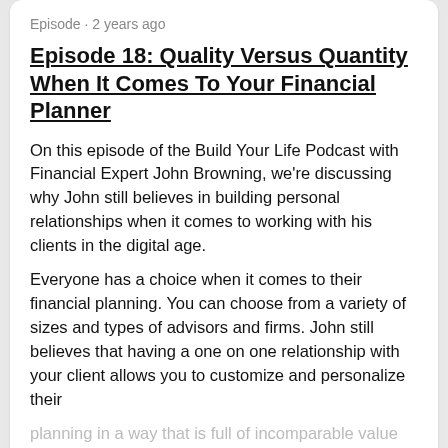Episode · 2 years ago
Episode 18: Quality Versus Quantity When It Comes To Your Financial Planner
On this episode of the Build Your Life Podcast with Financial Expert John Browning, we're discussing why John still believes in building personal relationships when it comes to working with his clients in the digital age.
Everyone has a choice when it comes to their financial planning. You can choose from a variety of sizes and types of advisors and firms. John still believes that having a one on one relationship with your client allows you to customize and personalize their
planning in a way that is full of incomparable value
LISTEN NOW
Episode · 2 years ago
Episode 13: What's YOUR Story?